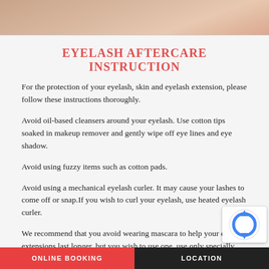[Figure (photo): Close-up photo of a person's eye/eyelash area, cropped at top of page]
EYELASH AFTERCARE INSTRUCTION
For the protection of your eyelash, skin and eyelash extension, please follow these instructions thoroughly.
Avoid oil-based cleansers around your eyelash. Use cotton tips soaked in makeup remover and gently wipe off eye lines and eye shadow.
Avoid using fuzzy items such as cotton pads.
Avoid using a mechanical eyelash curler. It may cause your lashes to come off or snap.If you wish to curl your eyelash, use heated eyelash curler.
We recommend that you avoid wearing mascara to help your eyelash extensions last longer, but you wish to use one, use only specially formu...
ONLINE BOOKING    LOCATION